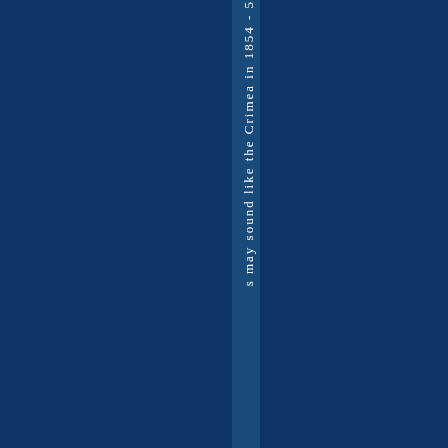s may sound like the Crimea in 1854 - 5